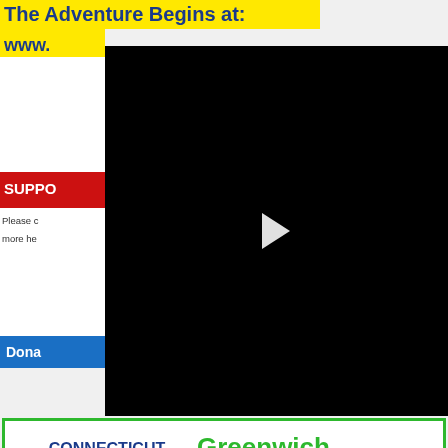The Adventure Begins at:
www.
SUPPO
Please co
more he
Dona
[Figure (screenshot): Black video player with white play button triangle in center]
[Figure (other): Connecticut Grown / Greenwich Farmers Market advertisement with green border]
[Figure (other): Aeropostale advertisement: TEES & TANKS $6.87 & UP, SHOP NOW]